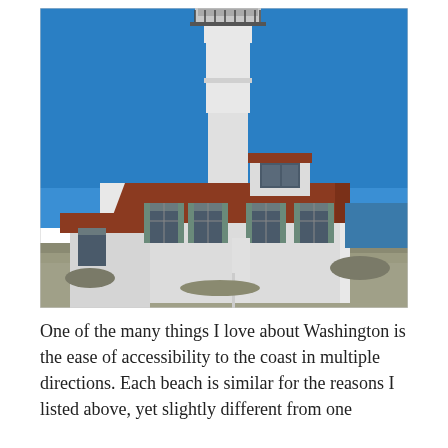[Figure (photo): Photograph of a white lighthouse building with a tall octagonal tower rising from a white keeper's house with a red/brown hip roof. Multiple windows with grey-green shutters/trim visible on the facade. Rocky ground and blue sky in the background. Coastal setting.]
One of the many things I love about Washington is the ease of accessibility to the coast in multiple directions. Each beach is similar for the reasons I listed above, yet slightly different from one